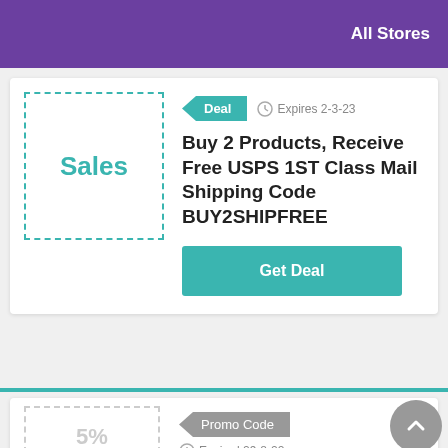All Stores
Deal  Expires 2-3-23
Sales
Buy 2 Products, Receive Free USPS 1ST Class Mail Shipping Code BUY2SHIPFREE
Get Deal
Promo Code
Expired 29-8-22
5% Off
5% Off Entire Order S